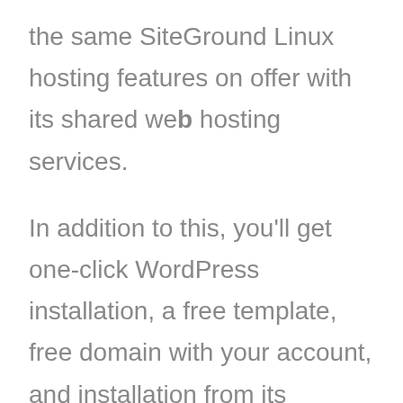the same SiteGround Linux hosting features on offer with its shared web hosting services.

In addition to this, you'll get one-click WordPress installation, a free template, free domain with your account, and installation from its support team. SiteGround's WordPress team will also help you transfer an account for free without downtime on your site.